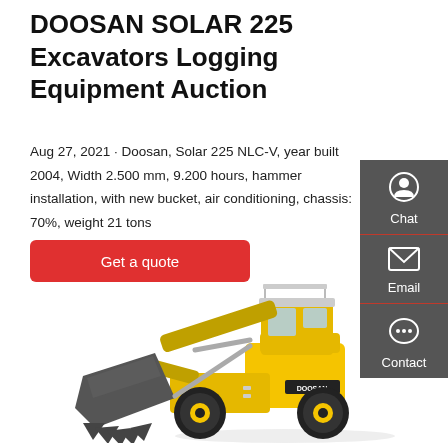DOOSAN SOLAR 225 Excavators Logging Equipment Auction
Aug 27, 2021 · Doosan, Solar 225 NLC-V, year built 2004, Width 2.500 mm, 9.200 hours, hammer installation, with new bucket, air conditioning, chassis: 70%, weight 21 tons
Get a quote
[Figure (photo): Yellow and black Doosan wheel loader with large bucket attachment, shown on white background]